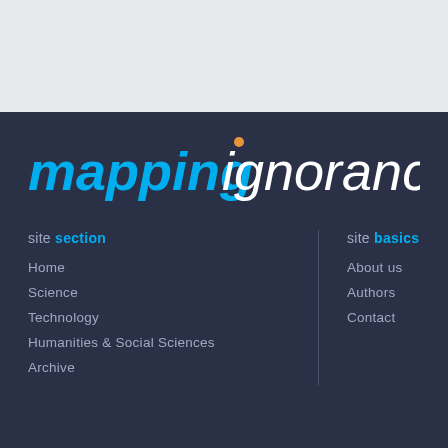mapping ignorance
site section
Home
Science
Technology
Humanities & Social Sciences
Archive
site basics
About us
Authors
Contact